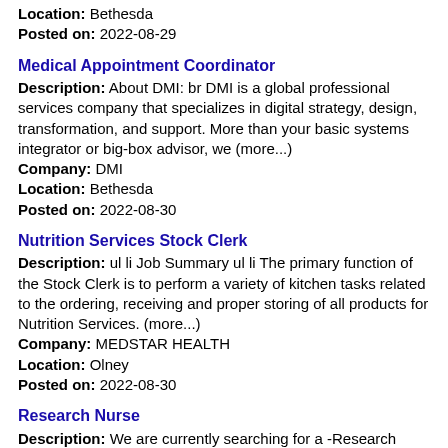Location: Bethesda
Posted on: 2022-08-29
Medical Appointment Coordinator
Description: About DMI: br DMI is a global professional services company that specializes in digital strategy, design, transformation, and support. More than your basic systems integrator or big-box advisor, we (more...)
Company: DMI
Location: Bethesda
Posted on: 2022-08-30
Nutrition Services Stock Clerk
Description: ul li Job Summary ul li The primary function of the Stock Clerk is to perform a variety of kitchen tasks related to the ordering, receiving and proper storing of all products for Nutrition Services. (more...)
Company: MEDSTAR HEALTH
Location: Olney
Posted on: 2022-08-30
Research Nurse
Description: We are currently searching for a -Research Nurse to provide support to the National Institutes of Health NIH . - This opportunity is a full-time position with MSC and it is on-site in Bethesda, Maryland. (more...)
Company: Medical Science & Computing (MSC), a Dovel